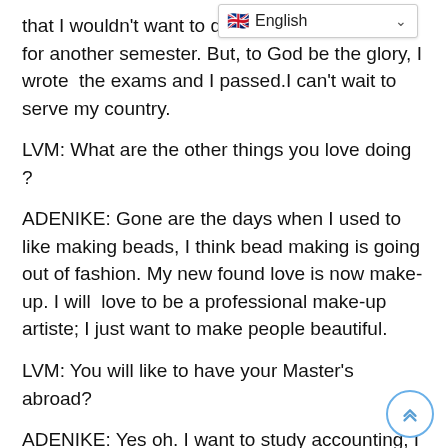that I wouldn't want to disturb M for another semester. But, to God be the glory, I wrote  the exams and I passed.I can't wait to serve my country.
LVM: What are the other things you love doing ?
ADENIKE: Gone are the days when I used to like making beads, I think bead making is going out of fashion. My new found love is now make-up. I will  love to be a professional make-up artiste; I just want to make people beautiful.
LVM: You will like to have your Master's abroad?
ADENIKE: Yes oh. I want to study accounting, I am open to any assistance from well many Nigerians.
LVM: Do you think the society is friendly with people living with one disability or the other?